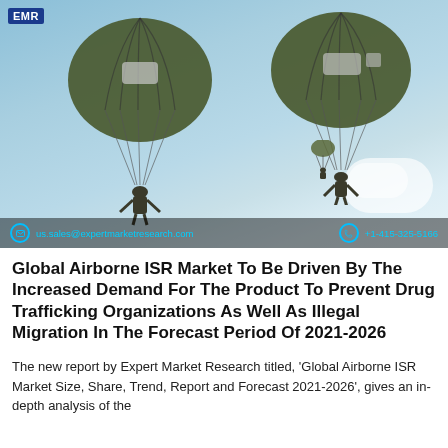[Figure (photo): Two military paratroopers descending with large olive-green parachutes against a light blue sky, with a third paratrooper visible in the background lower right.]
Global Airborne ISR Market To Be Driven By The Increased Demand For The Product To Prevent Drug Trafficking Organizations As Well As Illegal Migration In The Forecast Period Of 2021-2026
The new report by Expert Market Research titled, 'Global Airborne ISR Market Size, Share, Trend, Report and Forecast 2021-2026', gives an in-depth analysis of the